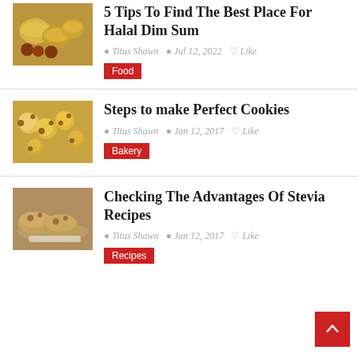[Figure (photo): Dim sum dishes in yellow bamboo steamers with dipping sauces]
5 Tips To Find The Best Place For Halal Dim Sum
Titus Shawn  Jul 12, 2022  Like
Food
[Figure (photo): Chocolate chip cookies on a baking sheet]
Steps to make Perfect Cookies
Titus Shawn  Jan 12, 2017  Like
Bakery
[Figure (photo): Baked scones on a plate]
Checking The Advantages Of Stevia Recipes
Titus Shawn  Jan 12, 2017  Like
Recipes